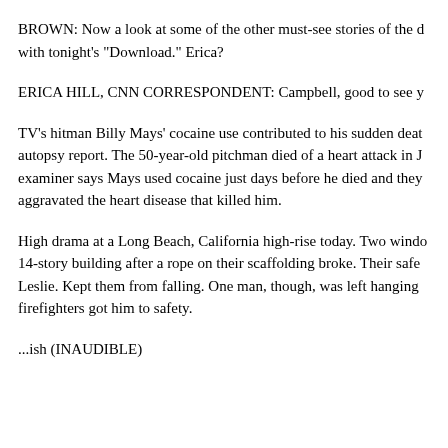BROWN: Now a look at some of the other must-see stories of the day with tonight's "Download." Erica?
ERICA HILL, CNN CORRESPONDENT: Campbell, good to see y
TV's hitman Billy Mays' cocaine use contributed to his sudden death according to an autopsy report. The 50-year-old pitchman died of a heart attack in June. The medical examiner says Mays used cocaine just days before he died and they say it aggravated the heart disease that killed him.
High drama at a Long Beach, California high-rise today. Two window washers on a 14-story building after a rope on their scaffolding broke. Their safety harness, as Leslie. Kept them from falling. One man, though, was left hanging until firefighters got him to safety.
...ish (INAUDIBLE)